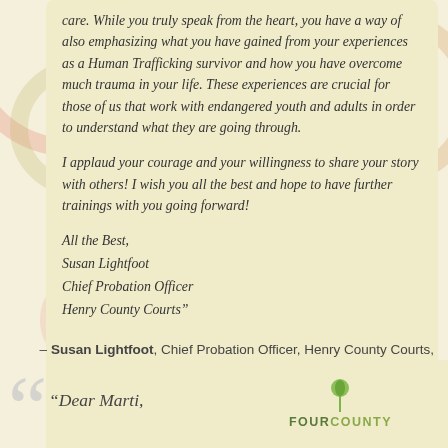care. While you truly speak from the heart, you have a way of also emphasizing what you have gained from your experiences as a Human Trafficking survivor and how you have overcome much trauma in your life. These experiences are crucial for those of us that work with endangered youth and adults in order to understand what they are going through.

I applaud your courage and your willingness to share your story with others! I wish you all the best and hope to have further trainings with you going forward!

All the Best,
Susan Lightfoot
Chief Probation Officer
Henry County Courts"
– Susan Lightfoot, Chief Probation Officer, Henry County Courts, New Castle, IN
“Dear Marti,
[Figure (logo): Four County logo with green leaf/plant icon and text FOURCOUNTY]